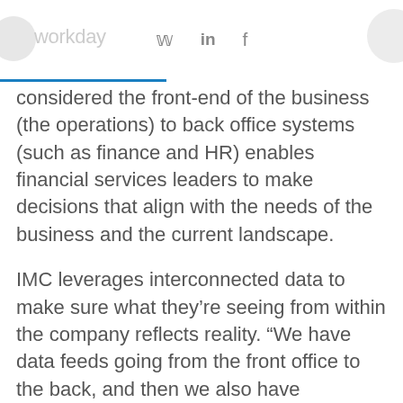workday [twitter] [linkedin] [facebook]
considered the front-end of the business (the operations) to back office systems (such as finance and HR) enables financial services leaders to make decisions that align with the needs of the business and the current landscape.
IMC leverages interconnected data to make sure what they’re seeing from within the company reflects reality. “We have data feeds going from the front office to the back, and then we also have